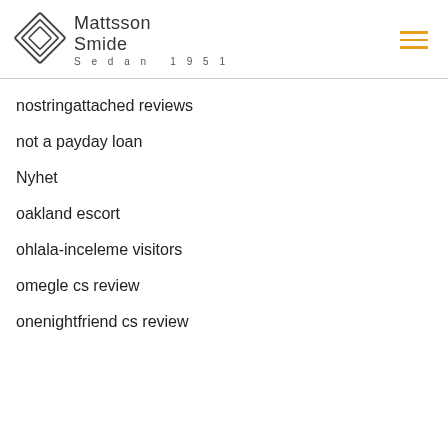[Figure (logo): Mattsson Smide logo with geometric diamond shape icon and text 'Mattsson Smide Sedan 1951']
nostringattached reviews
not a payday loan
Nyhet
oakland escort
ohlala-inceleme visitors
omegle cs review
onenightfriend cs review